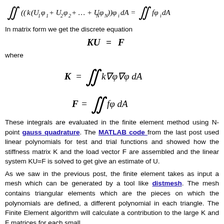In matrix form we get the discrete equation
where
These integrals are evaluated in the finite element method using N-point gauss quadrature. The MATLAB code from the last post used linear polynomials for test and trial functions and showed how the stiffness matrix K and the load vector F are assembled and the linear system KU=F is solved to get give an estimate of U.
As we saw in the previous post, the finite element takes as input a mesh which can be generated by a tool like distmesh. The mesh contains triangular elements which are the pieces on which the polynomials are defined, a different polynomial in each triangle. The Finite Element algorithm will calculate a contribution to the large K and F matrices for each small